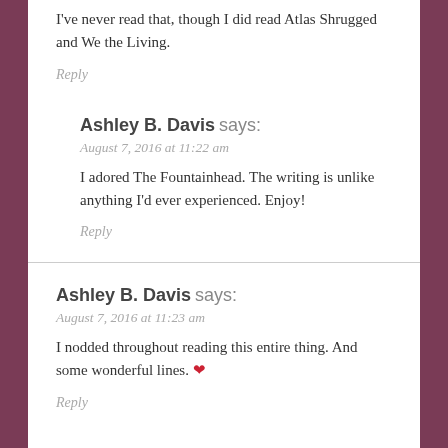I've never read that, though I did read Atlas Shrugged and We the Living.
Reply
Ashley B. Davis says:
August 7, 2016 at 11:22 am
I adored The Fountainhead. The writing is unlike anything I'd ever experienced. Enjoy!
Reply
Ashley B. Davis says:
August 7, 2016 at 11:23 am
I nodded throughout reading this entire thing. And some wonderful lines. ❤
Reply